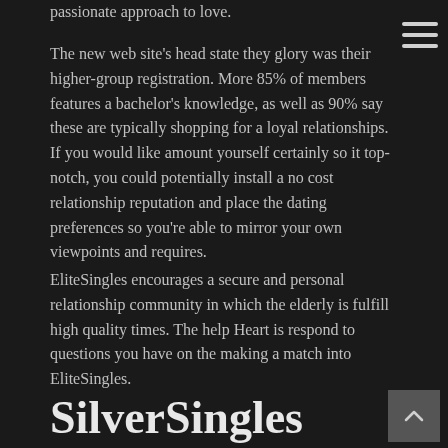passionate approach to love.
The new web site's head state they glory was their higher-group registration. More 85% of members features a bachelor's knowledge, as well as 90% say these are typically shopping for a loyal relationships. If you would like amount yourself certainly so it top-notch, you could potentially install a no cost relationship reputation and place the dating preferences so you're able to mirror your own viewpoints and requires.
EliteSingles encourages a secure and personal relationship community in which the elderly is fulfill high quality times. The help Heart is respond to questions you have on the making a match into EliteSingles.
SilverSingles